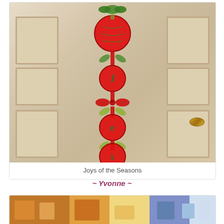[Figure (photo): A vertical Christmas ornament banner hanging on a white door. The banner consists of a large red ornament at the top with green bow, connected by red ribbon strips to smaller green-and-red ornament circles below. A gold door knob is visible on the right side of the door.]
Joys of the Seasons
~ Yvonne ~
[Figure (photo): Partial view of another photo at the bottom of the page, showing what appears to be a colorful scene with blues, oranges and whites.]